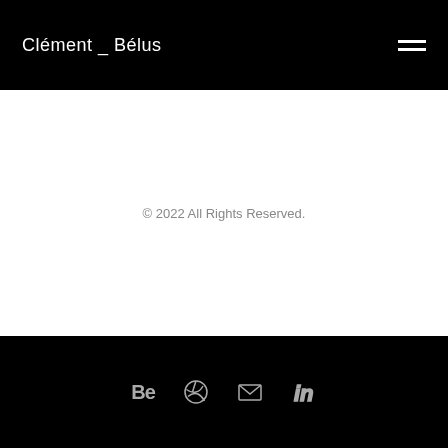Clément _ Bélus
© 2022 All Rights Reserved.
Social icons: Behance, Dribbble, Email, LinkedIn